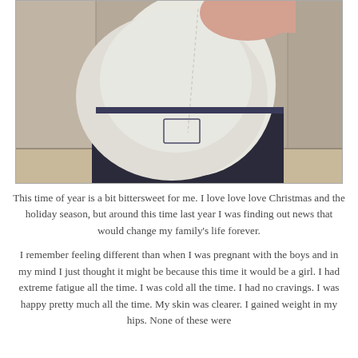[Figure (photo): A pregnant woman in a white fitted top and dark jeans, photographed from the side showing a large baby bump, taken in what appears to be a fitting room or small room with tan/beige walls.]
This time of year is a bit bittersweet for me. I love love love Christmas and the holiday season, but around this time last year I was finding out news that would change my family's life forever.
I remember feeling different than when I was pregnant with the boys and in my mind I just thought it might be because this time it would be a girl. I had extreme fatigue all the time. I was cold all the time. I had no cravings. I was happy pretty much all the time. My skin was clearer. I gained weight in my hips. None of these were